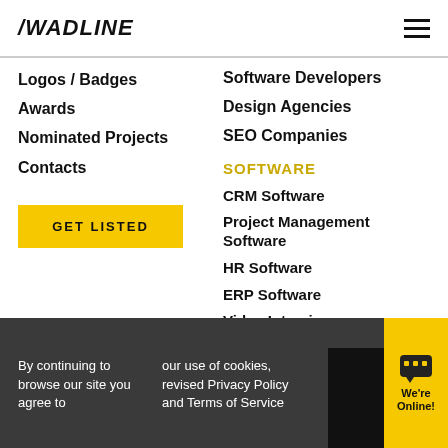/WADLINE
Logos / Badges
Awards
Nominated Projects
Contacts
Software Developers
Design Agencies
SEO Companies
GET LISTED
SOFTWARE
CRM Software
Project Management Software
HR Software
ERP Software
Video Interview Software
Assessment
Live Chat Software
Invoicing Software
Recruiting Software
By continuing to browse our site you agree to our use of cookies, revised Privacy Policy and Terms of Service
We're Online!